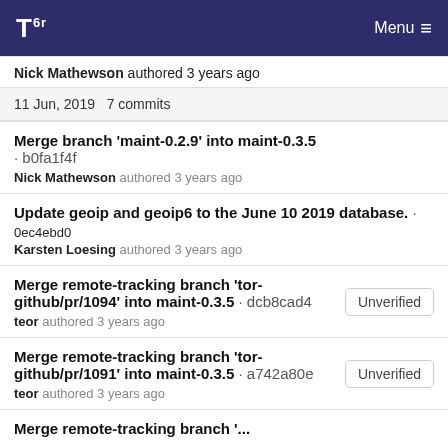Tor Menu
Nick Mathewson authored 3 years ago
11 Jun, 2019 7 commits
Merge branch 'maint-0.2.9' into maint-0.3.5 · b0fa1f4f
Nick Mathewson authored 3 years ago
Update geoip and geoip6 to the June 10 2019 database. · 0ec4ebd0
Karsten Loesing authored 3 years ago
Merge remote-tracking branch 'tor-github/pr/1094' into maint-0.3.5 · dcb8cad4
teor authored 3 years ago
Unverified
Merge remote-tracking branch 'tor-github/pr/1091' into maint-0.3.5 · a742a80e
teor authored 3 years ago
Unverified
Merge remote-tracking branch '